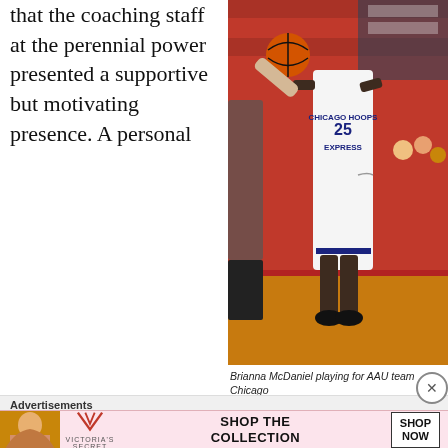that the coaching staff at the perennial power presented a supportive but motivating presence. A personal
[Figure (photo): Brianna McDaniel in a white Chicago Hoops Express #25 jersey running with a basketball during an AAU game in a gym with red bleachers]
Brianna McDaniel playing for AAU team Chicago
Advertisements
[Figure (photo): Victoria's Secret advertisement banner showing a model, VS logo, 'SHOP THE COLLECTION' text, and a 'SHOP NOW' button]